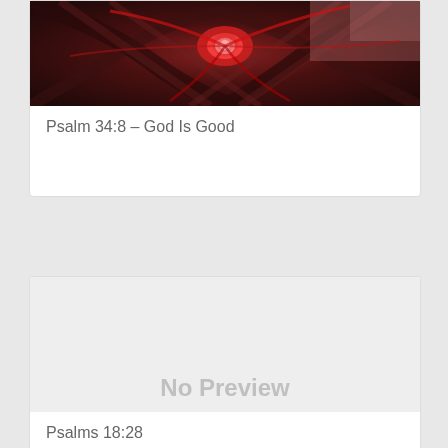[Figure (illustration): Abstract digital art with swirling red and dark tones, featuring a glowing eye-like element in the center with spiraling streaks]
Psalm 34:8 – God Is Good
[Figure (photo): No Preview placeholder image with light gray background]
Psalms 18:28